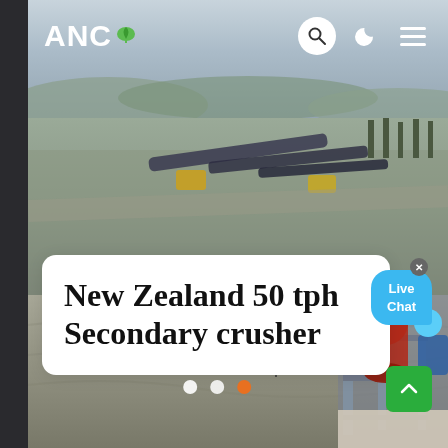[Figure (screenshot): Website screenshot showing ANC logo on navigation bar with search, dark mode, and menu icons over an aerial photo of a quarry/crushing plant. A white card overlays the image with the title 'New Zealand 50 tph Secondary crusher'. There is a live chat bubble in the upper right of the card area. Three slider dots are visible at the bottom (two white, one orange). A green scroll-to-top button is at the bottom right.]
ANC
New Zealand 50 tph Secondary crusher